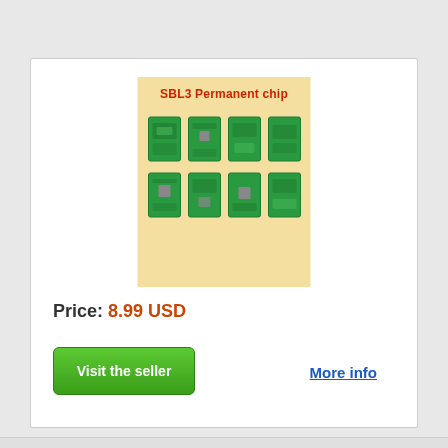[Figure (photo): Product image of SBL3 Permanent chip - shows 8 green PCB circuit boards/chips arranged in a 4x2 grid on a light yellow background, with red text 'SBL3 Permanent chip' at the top]
Price: 8.99 USD
Visit the seller
More info